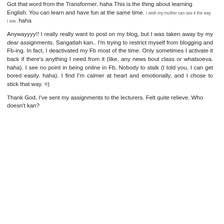Got that word from the Transformer. haha This is the thing about learning English. You can learn and have fun at the same time. I wish my mother can see it the way I see. haha
Anywayyyy!! I really really want to post on my blog, but I was taken away by my dear assignments. Sangatlah kan.. I'm trying to restrict myself from blogging and Fb-ing. In fact, I deactivated my Fb most of the time. Only sometimes I activate it back if there's anything I need from it (like, any news bout class or whatsoeva. haha). I see no point in being online in Fb. Nobody to stalk (I told you, I can get bored easily. haha). I find I'm calmer at heart and emotionally, and I chose to stick that way. =)
Thank God, I've sent my assignments to the lecturers. Felt quite relieve. Who doesn't kan?